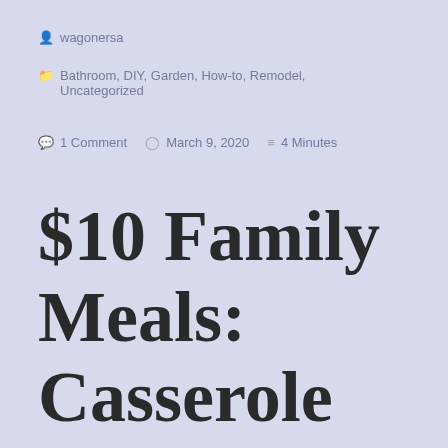wagonersa
Bathroom, DIY, Garden, How-to, Remodel, Uncategorized
1 Comment   March 9, 2020   4 Minutes
$10 Family Meals: Casserole Edition